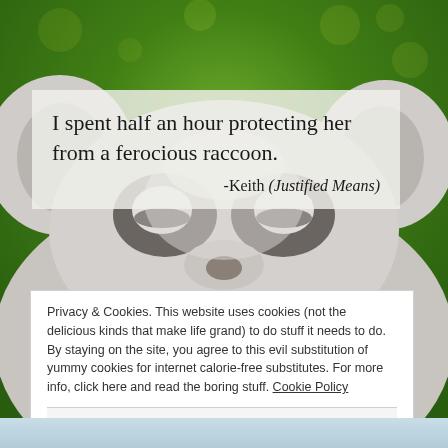[Figure (photo): A close-up photo of a raccoon face against a blurred green background with yellow bokeh flowers. A semi-transparent white box overlays the image containing a quote.]
I spent half an hour protecting her from a ferocious raccoon. -Keith (Justified Means)
Privacy & Cookies. This website uses cookies (not the delicious kinds that make life grand) to do stuff it needs to do. By staying on the site, you agree to this evil substitution of yummy cookies for internet calorie-free substitutes. For more info, click here and read the boring stuff. Cookie Policy
Close and accept